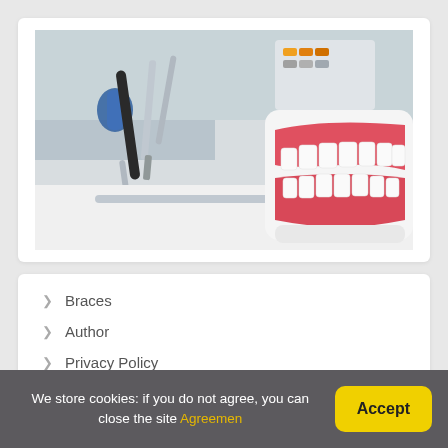[Figure (photo): Dental model (denture/teeth model) with pink gums and white teeth alongside dental instruments including a mouth mirror and dental drill equipment, on a white surface in a dental office setting.]
Braces
Author
Privacy Policy
Cookie agreement
We store cookies: if you do not agree, you can close the site Agreemen